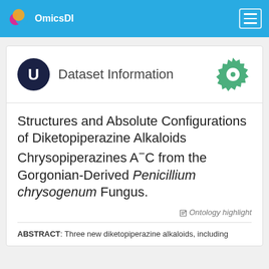OmicsDI
Dataset Information
Structures and Absolute Configurations of Diketopiperazine Alkaloids Chrysopiperazines A−C from the Gorgonian-Derived Penicillium chrysogenum Fungus.
Ontology highlight
ABSTRACT: Three new diketopiperazine alkaloids, including